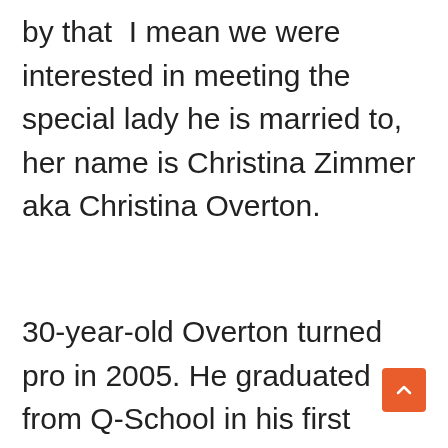by that I mean we were interested in meeting the special lady he is married to, her name is Christina Zimmer aka Christina Overton.

30-year-old Overton turned pro in 2005. He graduated from Q-School in his first attempt and started to play on the Tour in 2006. In 2006, he scored a double eagle (albatross) on the 18 hole at Westchester Country Club